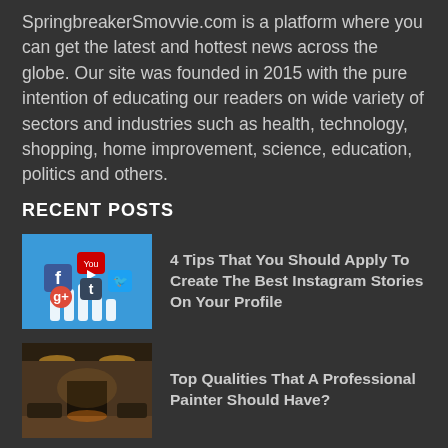SpringbreakerSmovvie.com is a platform where you can get the latest and hottest news across the globe. Our site was founded in 2015 with the pure intention of educating our readers on wide variety of sectors and industries such as health, technology, shopping, home improvement, science, education, politics and others.
RECENT POSTS
[Figure (illustration): Social media icons (Facebook, YouTube, Google+, Tumblr, Twitter) illustrated as hand-held signs on a blue background]
4 Tips That You Should Apply To Create The Best Instagram Stories On Your Profile
[Figure (photo): Interior room with warm lighting, showing a luxury living space with dark walls and ceiling lights]
Top Qualities That A Professional Painter Should Have?
[Figure (photo): VPN themed image with blue circuit/wave background and VPN text]
Best Hacks To Bypass VPN Blocks